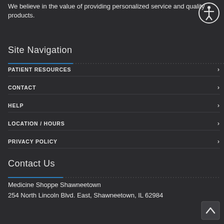We believe in the value of providing personalized service and quality products.
Site Navigation
PATIENT RESOURCES
CONTACT
HELP
LOCATION / HOURS
PRIVACY POLICY
Contact Us
Medicine Shoppe Shawneetown
254 North Lincoln Blvd. East, Shawneetown, IL 62984